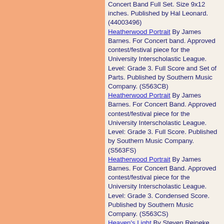Concert Band Full Set. Size 9x12 inches. Published by Hal Leonard. (44003496)
Heatherwood Portrait By James Barnes. For Concert band. Approved contest/festival piece for the University Interscholastic League. Level: Grade 3. Full Score and Set of Parts. Published by Southern Music Company. (S563CB)
Heatherwood Portrait By James Barnes. For Concert Band. Approved contest/festival piece for the University Interscholastic League. Level: Grade 3. Full Score. Published by Southern Music Company. (S563FS)
Heatherwood Portrait By James Barnes. For Concert Band. Approved contest/festival piece for the University Interscholastic League. Level: Grade 3. Condensed Score. Published by Southern Music Company. (S563CS)
Heaven's Light By Steven Reineke. Sacred. Concert Band. Level: Grade 3.5. Full score and set of parts. Composed 2004. Duration 0:03:55. Published by C.L. Barnhouse. (012-3387-00)